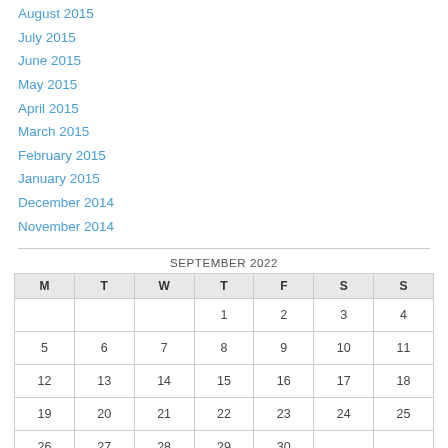August 2015
July 2015
June 2015
May 2015
April 2015
March 2015
February 2015
January 2015
December 2014
November 2014
SEPTEMBER 2022
| M | T | W | T | F | S | S |
| --- | --- | --- | --- | --- | --- | --- |
|  |  |  | 1 | 2 | 3 | 4 |
| 5 | 6 | 7 | 8 | 9 | 10 | 11 |
| 12 | 13 | 14 | 15 | 16 | 17 | 18 |
| 19 | 20 | 21 | 22 | 23 | 24 | 25 |
| 26 | 27 | 28 | 29 | 30 |  |  |